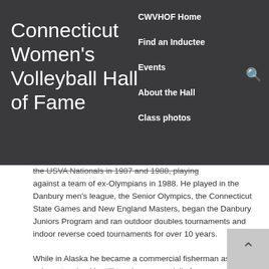Connecticut Women's Volleyball Hall of Fame
CWVHOF Home
Find an Inductee
Events
About the Hall
Class photos
the USVA Nationals in 1987 and 1988, playing against a team of ex-Olympians in 1988. He played in the Danbury men's league, the Senior Olympics, the Connecticut State Games and New England Masters, began the Danbury Juniors Program and ran outdoor doubles tournaments and indoor reverse coed tournaments for over 10 years.
While in Alaska he became a commercial fisherman as a salmon trawler. He still trawls commercially for